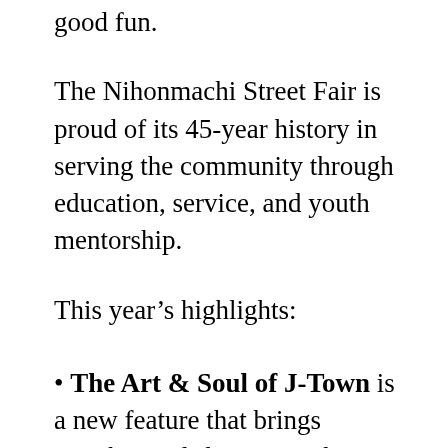good fun.
The Nihonmachi Street Fair is proud of its 45-year history in serving the community through education, service, and youth mentorship.
This year's highlights:
The Art & Soul of J-Town is a new feature that brings together and showcases the many artists in the diverse APA communities. It is also an opportunity for these communities to bring their voices and creativity together, celebrating unity in